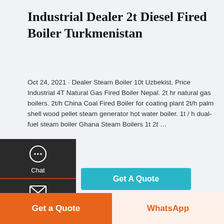Industrial Dealer 2t Diesel Fired Boiler Turkmenistan
Oct 24, 2021 · Dealer Steam Boiler 10t Uzbekist. Price Industrial 4T Natural Gas Fired Boiler Nepal. 2t hr natural gas boilers. 2t/h China Coal Fired Boiler for coating plant 2t/h palm shell wood pellet steam generator hot water boiler. 1t / h dual-fuel steam boiler Ghana Steam Boilers 1t 2t …
[Figure (screenshot): Industrial boiler facility with yellow metal railings and large cylindrical boiler vessels in a factory setting.]
[Figure (infographic): Left sidebar with dark background showing Chat, Email, and Contact icons with labels, and a scroll-to-top arrow.]
[Figure (screenshot): Get A Quote button in teal/cyan color.]
[Figure (screenshot): Scroll to top button on right side with upward arrow icon.]
Get a Quote
WhatsApp